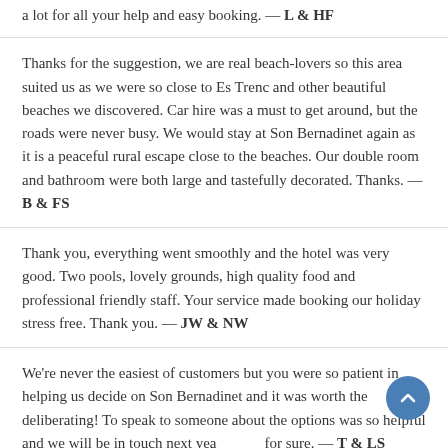a lot for all your help and easy booking. — L & HF
Thanks for the suggestion, we are real beach-lovers so this area suited us as we were so close to Es Trenc and other beautiful beaches we discovered. Car hire was a must to get around, but the roads were never busy. We would stay at Son Bernadinet again as it is a peaceful rural escape close to the beaches. Our double room and bathroom were both large and tastefully decorated. Thanks. — B & FS
Thank you, everything went smoothly and the hotel was very good. Two pools, lovely grounds, high quality food and professional friendly staff. Your service made booking our holiday stress free. Thank you. — JW & NW
We're never the easiest of customers but you were so patient in helping us decide on Son Bernadinet and it was worth the deliberating! To speak to someone about the options was so helpful and we will be in touch next year for sure. — T & LS